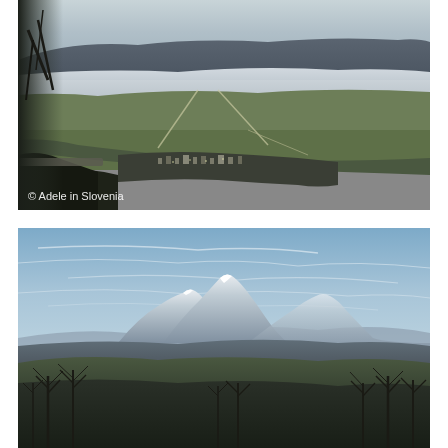[Figure (photo): Aerial/elevated view of a Slovenian valley with a town in the foreground, flat green fields extending into the distance, a band of low fog or mist in the middle distance, and a long mountain ridge along the horizon. Bare trees on the left edge. White watermark text reading '© Adele in Slovenia' in the lower left corner.]
[Figure (photo): Landscape view of snow-capped mountain peaks (likely the Julian Alps or Kamnik Alps in Slovenia) rising above forested hills, framed by bare winter trees in the foreground. Pale blue sky with thin wispy cloud streaks above.]